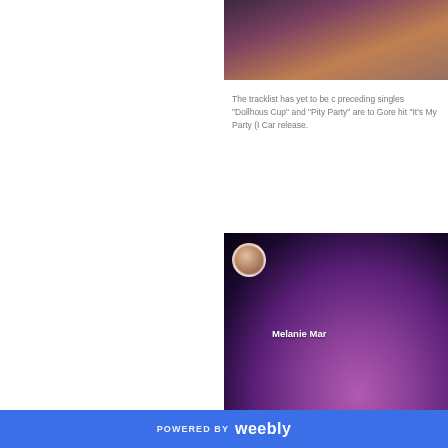[Figure (photo): Top image showing a person with dark hair against a warm-toned background, partially cropped]
The tracklist has yet to be c... preceding singles “Dollhous... Cup” and “Pity Party” are to... Gore hit “It’s My Party (I Car... release.
[Figure (screenshot): Video thumbnail or embedded video showing a person with pink/purple hair against a dark background, with a circular avatar and channel name 'Melanie Mar...' overlaid at the top]
POWERED BY weebly